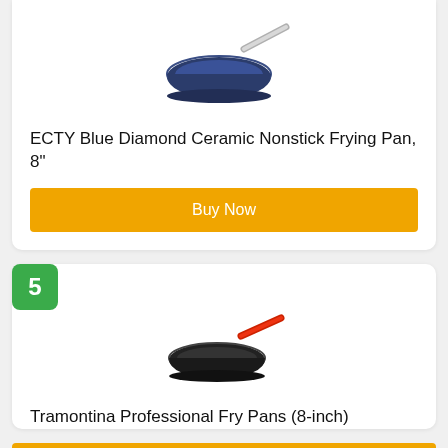[Figure (photo): ECTY Blue Diamond ceramic nonstick frying pan with silver handle, shown from above at an angle, on white background]
ECTY Blue Diamond Ceramic Nonstick Frying Pan, 8"
Buy Now
5
[Figure (photo): Tramontina black nonstick fry pan with red handle, shown from above at a slight angle, on white background]
Tramontina Professional Fry Pans (8-inch)
Buy Now